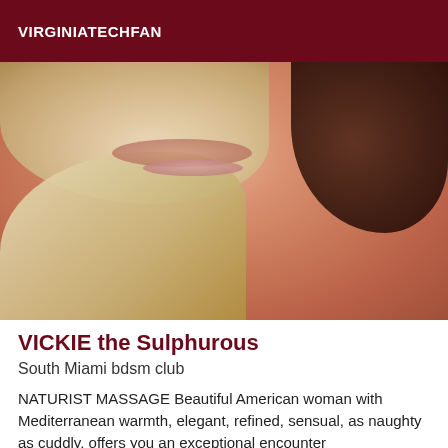VIRGINIATECHFAN
[Figure (photo): Close-up photo of a blonde woman's face and neck area, showing lips and long blonde hair with dark hair visible on the right side]
VICKIE the Sulphurous
South Miami bdsm club
NATURIST MASSAGE Beautiful American woman with Mediterranean warmth, elegant, refined, sensual, as naughty as cuddly, offers you an exceptional encounter